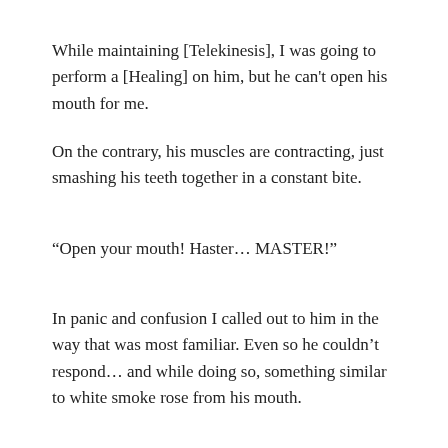While maintaining [Telekinesis], I was going to perform a [Healing] on him, but he can't open his mouth for me.
On the contrary, his muscles are contracting, just smashing his teeth together in a constant bite.
“Open your mouth! Haster… MASTER!”
In panic and confusion I called out to him in the way that was most familiar. Even so he couldn’t respond… and while doing so, something similar to white smoke rose from his mouth.